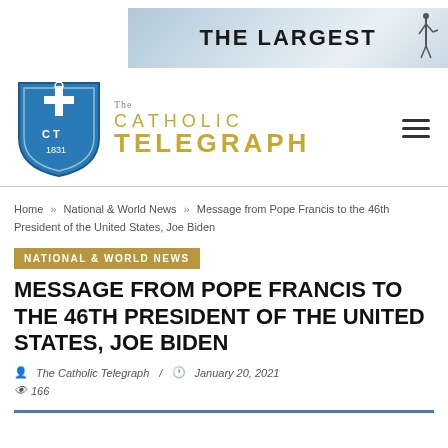[Figure (illustration): Advertisement banner with mountain/sky background and bold text 'THE LARGEST' with silhouette figure on right]
[Figure (logo): The Catholic Telegraph logo: blue shield with CT 1831 and cross, next to gold text 'The CATHOLIC TELEGRAPH']
Home » National & World News » Message from Pope Francis to the 46th President of the United States, Joe Biden
NATIONAL & WORLD NEWS
MESSAGE FROM POPE FRANCIS TO THE 46TH PRESIDENT OF THE UNITED STATES, JOE BIDEN
The Catholic Telegraph / January 20, 2021
166